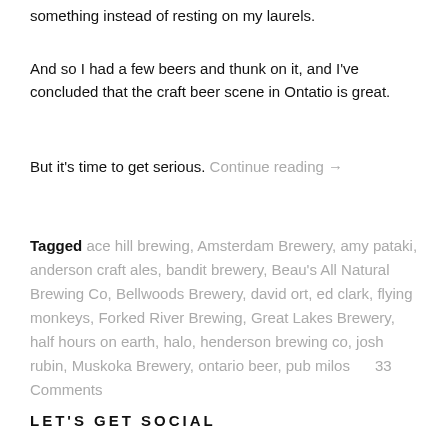something instead of resting on my laurels.
And so I had a few beers and thunk on it, and I've concluded that the craft beer scene in Ontatio is great.
But it's time to get serious. Continue reading →
Tagged ace hill brewing, Amsterdam Brewery, amy pataki, anderson craft ales, bandit brewery, Beau's All Natural Brewing Co, Bellwoods Brewery, david ort, ed clark, flying monkeys, Forked River Brewing, Great Lakes Brewery, half hours on earth, halo, henderson brewing co, josh rubin, Muskoka Brewery, ontario beer, pub milos 33 Comments
LET'S GET SOCIAL